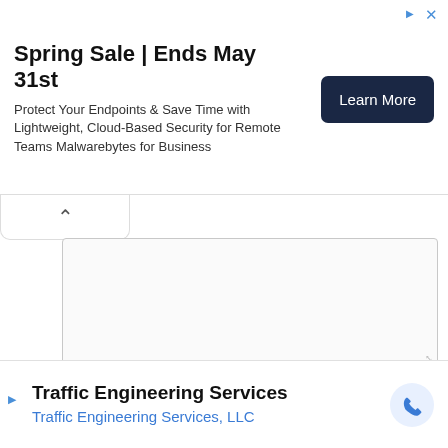[Figure (screenshot): Top advertisement banner for Malwarebytes Spring Sale with Learn More button]
[Figure (screenshot): Collapse chevron button area on white rounded tab]
[Figure (screenshot): Large empty textarea input field with resize handle]
Name *
[Figure (screenshot): Bottom advertisement for Traffic Engineering Services LLC with phone icon]